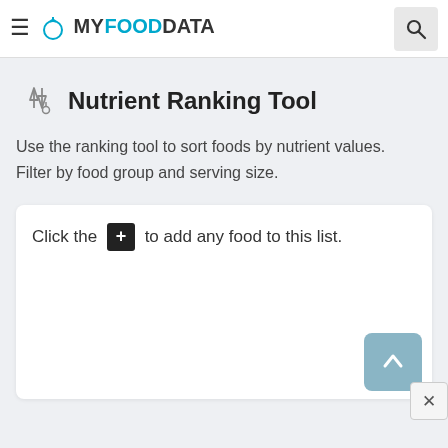MY FOOD DATA
Nutrient Ranking Tool
Use the ranking tool to sort foods by nutrient values. Filter by food group and serving size.
Click the + to add any food to this list.